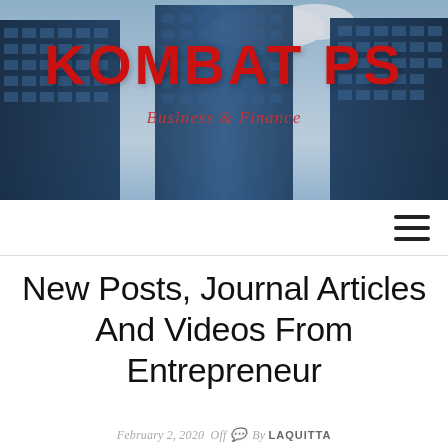[Figure (photo): Header banner image showing city skyscrapers against a blue sky with clouds, used as site header background]
KOMBAT PS
Business & Finance
[Figure (other): Hamburger menu icon (three horizontal lines) for navigation]
New Posts, Journal Articles And Videos From Entrepreneur
February 2, 2020  Off  By LAQUITTA